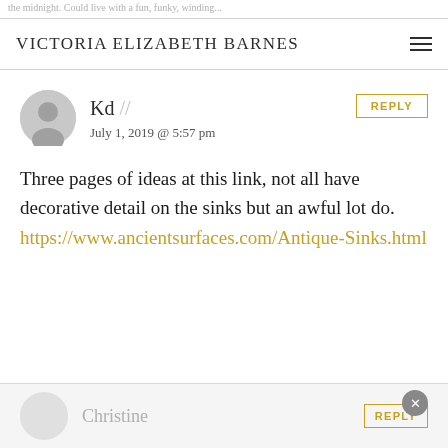Victoria Elizabeth Barnes
Kd // July 1, 2019 @ 5:57 pm
Three pages of ideas at this link, not all have decorative detail on the sinks but an awful lot do. https://www.ancientsurfaces.com/Antique-Sinks.html
Christine